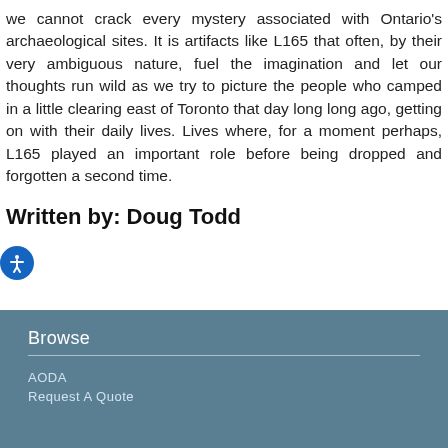we cannot crack every mystery associated with Ontario's archaeological sites. It is artifacts like L165 that often, by their very ambiguous nature, fuel the imagination and let our thoughts run wild as we try to picture the people who camped in a little clearing east of Toronto that day long long ago, getting on with their daily lives. Lives where, for a moment perhaps, L165 played an important role before being dropped and forgotten a second time.
Written by: Doug Todd
Browse
AODA
Request a Quote